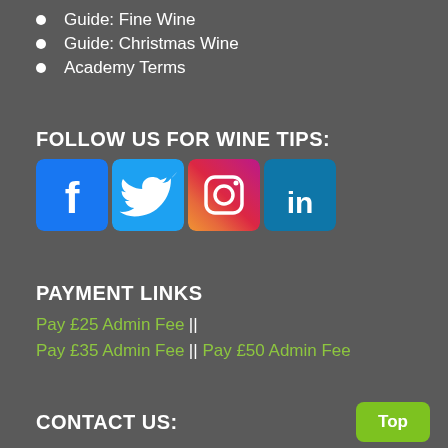Guide: Fine Wine
Guide: Christmas Wine
Academy Terms
FOLLOW US FOR WINE TIPS:
[Figure (logo): Social media icons: Facebook, Twitter, Instagram, LinkedIn]
PAYMENT LINKS
Pay £25 Admin Fee || Pay £35 Admin Fee || Pay £50 Admin Fee
CONTACT US: